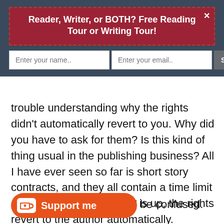Reader, Writer, or BOTH? Free Reading Tour or Writing Tour!
[Figure (infographic): Email subscription form with name input, email input, and Subscribe Now button on dark blue background]
trouble understanding why the rights didn’t automatically revert to you. Why did you have to ask for them? Is this kind of thing usual in the publishing business? All I have ever seen so far is short story contracts, and they all contain a time limit clause. After the time limit is up, the rights revert to the author automatically.
[Figure (other): Orange Support me button with Ko-fi cup icon]
d be confused.